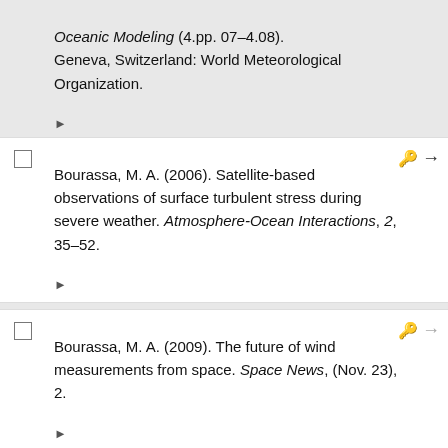Oceanic Modeling (4.pp. 07–4.08). Geneva, Switzerland: World Meteorological Organization.
Bourassa, M. A. (2006). Satellite-based observations of surface turbulent stress during severe weather. Atmosphere-Ocean Interactions, 2, 35–52.
Bourassa, M. A. (2009). The future of wind measurements from space. Space News, (Nov. 23), 2.
Bourassa, M. A. (2009). Uncertainty in scatterometer derived vorticity. In 2009